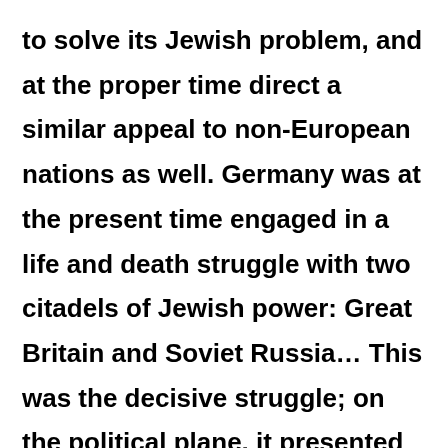to solve its Jewish problem, and at the proper time direct a similar appeal to non-European nations as well. Germany was at the present time engaged in a life and death struggle with two citadels of Jewish power: Great Britain and Soviet Russia… This was the decisive struggle; on the political plane, it presented itself in the main as a conflict between Germany and